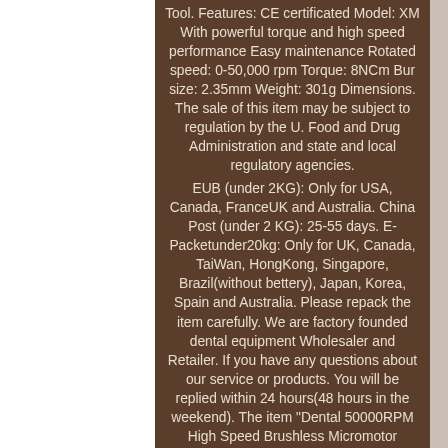Tool. Features: CE certificated Model: XM With powerful torque and high speed performance Easy maintenance Rotated speed: 0-50,000 rpm Torque: 8NCm Bur size: 2.35mm Weight: 301g Dimensions. The sale of this item may be subject to regulation by the U. Food and Drug Administration and state and local regulatory agencies.
EUB (under 2KG): Only for USA, Canada, FranceUK and Australia. China Post (under 2 KG): 25-55 days. E-Packetunder20kg: Only for UK, Canada, TaiWan, HongKong, Singapore, Brazil(without bettery), Japan, Korea, Spain and Australia. Please repack the item carefully. We are factory founded dental equipment Wholesaler and Retailer. If you have any questions about our service or products. You will be replied within 24 hours(48 hours in the weekend). The item "Dental 50000RPM High Speed Brushless Micromotor Handpiece Polishing Drill Tool" is in sale